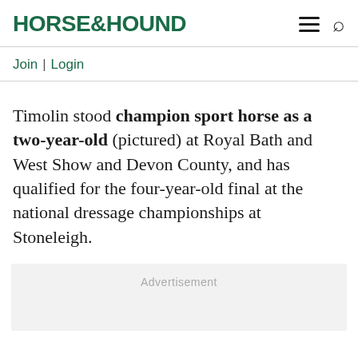HORSE&HOUND
Join | Login
Timolin stood champion sport horse as a two-year-old (pictured) at Royal Bath and West Show and Devon County, and has qualified for the four-year-old final at the national dressage championships at Stoneleigh.
Advertisement